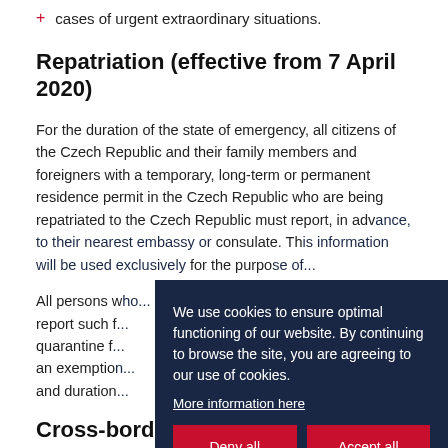cases of urgent extraordinary situations.
Repatriation (effective from 7 April 2020)
For the duration of the state of emergency, all citizens of the Czech Republic and their family members and foreigners with a temporary, long-term or permanent residence permit in the Czech Republic who are being repatriated to the Czech Republic must report, in advance, to their nearest embassy or consulate. This information will be used exclusively for the purpose of...
All persons who... report such f... quarantine f... an exemption... and duration...
Cross-border workers
We use cookies to ensure optimal functioning of our website. By continuing to browse the site, you are agreeing to our use of cookies.